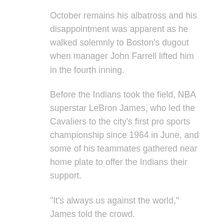October remains his albatross and his disappointment was apparent as he walked solemnly to Boston’s dugout when manager John Farrell lifted him in the fourth inning.
Before the Indians took the field, NBA superstar LeBron James, who led the Cavaliers to the city’s first pro sports championship since 1964 in June, and some of his teammates gathered near home plate to offer the Indians their support.
“It’s always us against the world,” James told the crowd.
Right now, Cleveland’s on top.